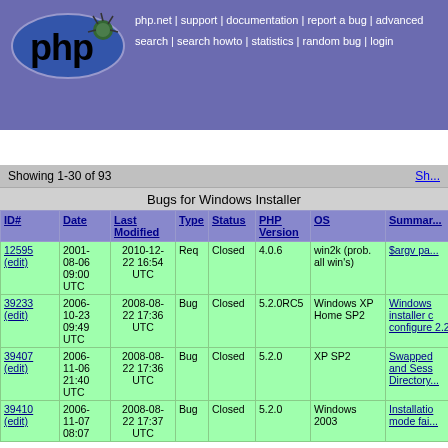[Figure (logo): PHP bug tracker logo with php text and bug graphic on blue oval]
php.net | support | documentation | report a bug | advanced search | search howto | statistics | random bug | login
go to bug id or search bugs for [search box]
Showing 1-30 of 93
Bugs for Windows Installer
| ID# | Date | Last Modified | Type | Status | PHP Version | OS | Summary |
| --- | --- | --- | --- | --- | --- | --- | --- |
| 12595 (edit) | 2001-08-06 09:00 UTC | 2010-12-22 16:54 UTC | Req | Closed | 4.0.6 | win2k (prob. all win's) | $argv pa... |
| 39233 (edit) | 2006-10-23 09:49 UTC | 2008-08-22 17:36 UTC | Bug | Closed | 5.2.0RC5 | Windows XP Home SP2 | Windows installer c configure 2.2 |
| 39407 (edit) | 2006-11-06 21:40 UTC | 2008-08-22 17:36 UTC | Bug | Closed | 5.2.0 | XP SP2 | Swapped and Sess Directory... |
| 39410 (edit) | 2006-11-07 08:07 | 2008-08-22 17:37 UTC | Bug | Closed | 5.2.0 | Windows 2003 | Installatio mode fai... |